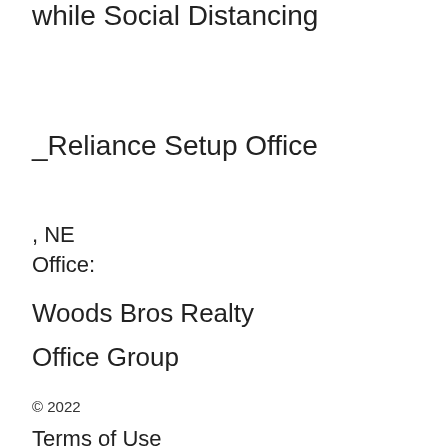while Social Distancing
_Reliance Setup Office
, NE
Office:
Woods Bros Realty
Office Group
© 2022
Terms of Use